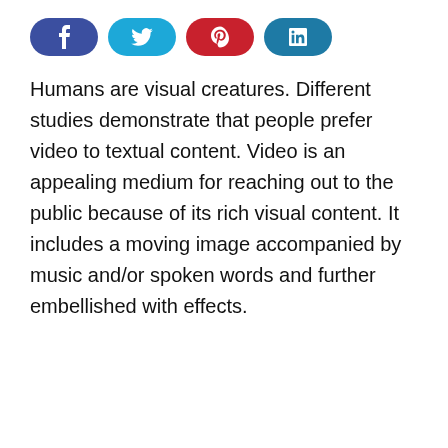[Figure (other): Social media share buttons: Facebook (dark blue), Twitter (light blue), Pinterest (red), LinkedIn (teal/blue)]
Humans are visual creatures. Different studies demonstrate that people prefer video to textual content. Video is an appealing medium for reaching out to the public because of its rich visual content. It includes a moving image accompanied by music and/or spoken words and further embellished with effects.